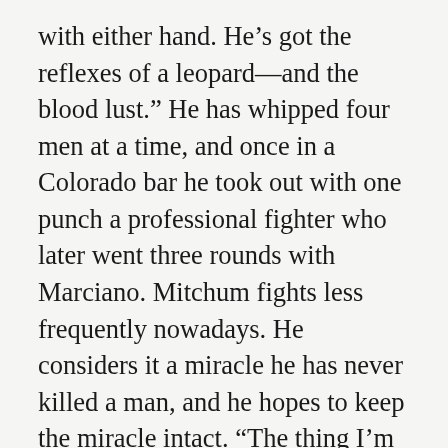with either hand. He’s got the reflexes of a leopard—and the blood lust.” He has whipped four men at a time, and once in a Colorado bar he took out with one punch a professional fighter who later went three rounds with Marciano. Mitchum fights less frequently nowadays. He considers it a miracle he has never killed a man, and he hopes to keep the miracle intact. “The thing I’m most afraid of in this world,” he told me one night, “is me.”
What is it that makes Mitchum so angry? Usually the same thing. “I tell